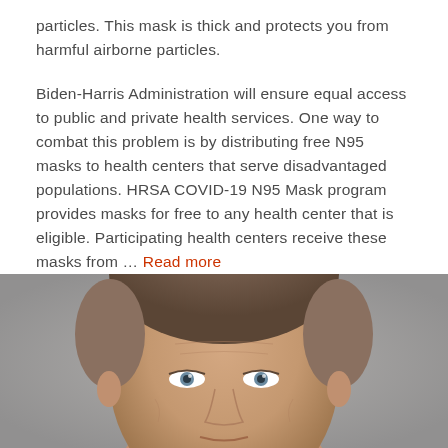particles. This mask is thick and protects you from harmful airborne particles.
Biden-Harris Administration will ensure equal access to public and private health services. One way to combat this problem is by distributing free N95 masks to health centers that serve disadvantaged populations. HRSA COVID-19 N95 Mask program provides masks for free to any health center that is eligible. Participating health centers receive these masks from … Read more
[Figure (photo): Close-up portrait photo of a middle-aged man with short brown/grey hair and blue eyes, looking directly at the camera against a neutral grey background.]